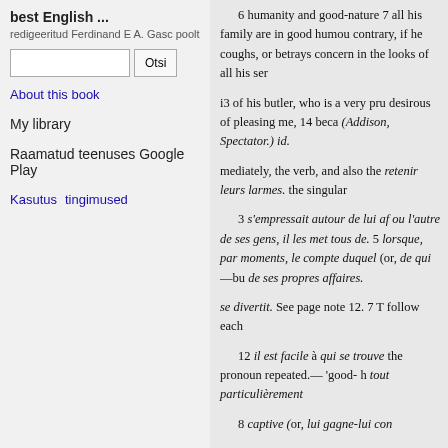best English ...
redigeeritud Ferdinand E A. Gasc poolt
Otsi [search box]
About this book
My library
Raamatud teenuses Google Play
Kasutus  tingimused
6 humanity and good-nature 7 all his family are in good humou contrary, if he coughs, or betrays concern in the looks of all his ser
i3 of his butler, who is a very pru desirous of pleasing me, 14 beca (Addison, Spectator.) id.
mediately, the verb, and also the retenir leurs larmes. the singular
3 s'empressait autour de lui af ou l'autre de ses gens, il les met tous de. 5 lorsque, par moments, le compte duquel (or, de qui—bu de ses propres affaires.
se divertit. See page note 12. 7 T follow each
12 il est facile à qui se trouve the pronoun repeated.— 'good- h tout particulièrement
8 captive (or, lui gagne-lui con